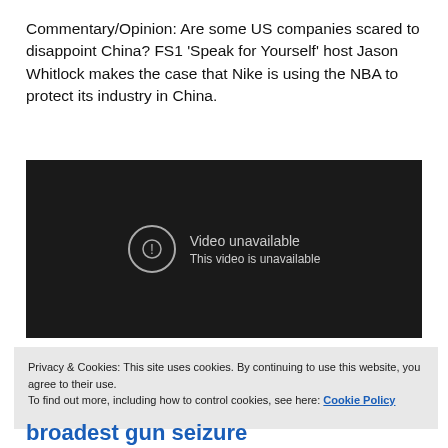Commentary/Opinion: Are some US companies scared to disappoint China? FS1 'Speak for Yourself' host Jason Whitlock makes the case that Nike is using the NBA to protect its industry in China.
[Figure (screenshot): Embedded video player showing 'Video unavailable - This video is unavailable' message on dark background]
Privacy & Cookies: This site uses cookies. By continuing to use this website, you agree to their use.
To find out more, including how to control cookies, see here: Cookie Policy
Close and accept
broadest gun seizure